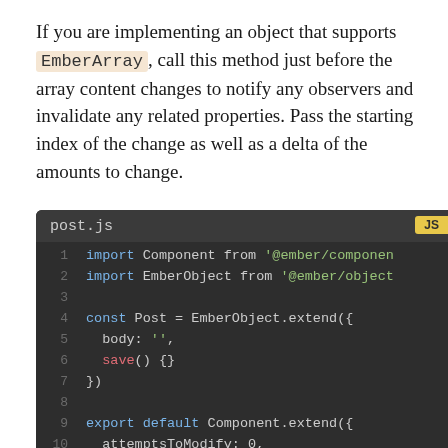If you are implementing an object that supports EmberArray, call this method just before the array content changes to notify any observers and invalidate any related properties. Pass the starting index of the change as well as a delta of the amounts to change.
[Figure (screenshot): Code block showing post.js JavaScript file with syntax highlighting on dark background. Lines 1-13 visible: imports of Component and EmberObject, const Post = EmberObject.extend with body and save(), export default Component.extend with attemptsToModify, successfulModifications, posts properties.]